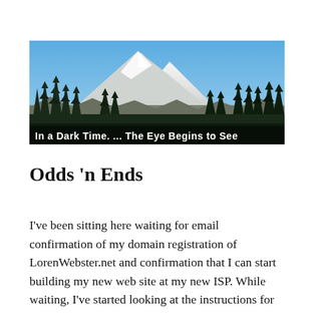[Figure (photo): A banner photo of a snow-capped mountain (likely Mount Rainier) with evergreen trees in the foreground and a blue sky. Text overlay reads: 'In a Dark Time. ... The Eye Begins to See']
Odds 'n Ends
I've been sitting here waiting for email confirmation of my domain registration of LorenWebster.net and confirmation that I can start building my new web site at my new ISP. While waiting, I've started looking at the instructions for installing MT.